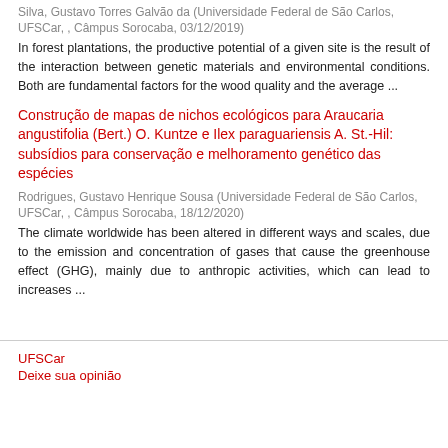Silva, Gustavo Torres Galvão da (Universidade Federal de São Carlos, UFSCar, , Câmpus Sorocaba, 03/12/2019)
In forest plantations, the productive potential of a given site is the result of the interaction between genetic materials and environmental conditions. Both are fundamental factors for the wood quality and the average ...
Construção de mapas de nichos ecológicos para Araucaria angustifolia (Bert.) O. Kuntze e Ilex paraguariensis A. St.-Hil: subsídios para conservação e melhoramento genético das espécies
Rodrigues, Gustavo Henrique Sousa (Universidade Federal de São Carlos, UFSCar, , Câmpus Sorocaba, 18/12/2020)
The climate worldwide has been altered in different ways and scales, due to the emission and concentration of gases that cause the greenhouse effect (GHG), mainly due to anthropic activities, which can lead to increases ...
UFSCar
Deixe sua opinião
[Figure (logo): UFT logo]
[Figure (logo): ibict logo]